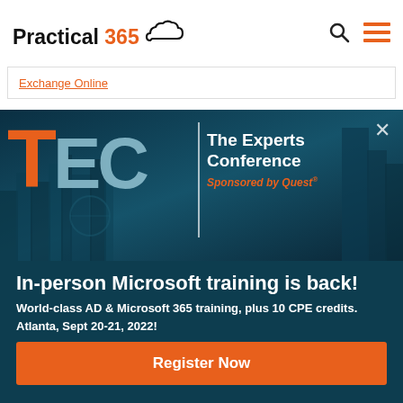Practical 365
Exchange Online
[Figure (screenshot): TEC – The Experts Conference banner with city skyline background. Orange T, light blue EC letters, vertical divider, white text 'The Experts Conference', orange italic 'Sponsored by Quest']
In-person Microsoft training is back!
World-class AD & Microsoft 365 training, plus 10 CPE credits.
Atlanta, Sept 20-21, 2022!
Register Now